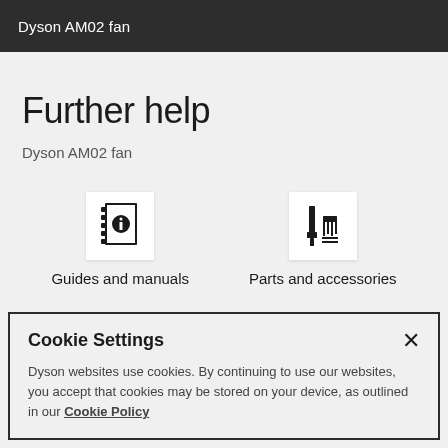Dyson AM02 fan
Further help
Dyson AM02 fan
[Figure (illustration): Icon of a guide/manual book with an 'i' information symbol on the cover]
Guides and manuals
[Figure (illustration): Icon of parts and accessories showing a screwdriver and comb-like accessory]
Parts and accessories
Cookie Settings
Dyson websites use cookies. By continuing to use our websites, you accept that cookies may be stored on your device, as outlined in our Cookie Policy